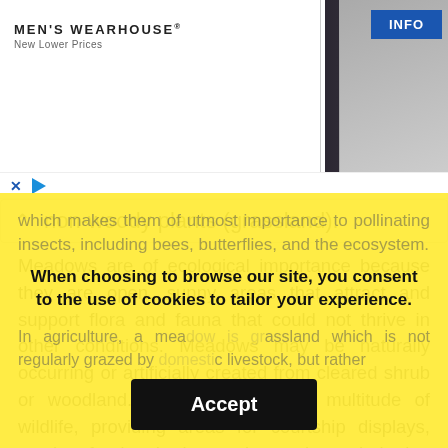[Figure (photo): Men's Wearhouse advertisement banner showing a couple in formalwear and a man in a suit, with an INFO button]
non-woody plants (grassland).
Meadows are of ecological importance because they are open, sunny areas that attract and support flora and fauna that could not thrive in other conditions. Meadows may be naturally occurring or artificially created from cleared shrub or woodland. They often host a multitude of wildlife, providing areas for courtship displays, nesting, food gathering, and sometimes sheltering if the vegetation is high enough. Many meadows support a wide array of wildflowers, which makes them of utmost importance to pollinating insects, including bees, butterflies, and the ecosystem. In agriculture, a meadow is grassland which is not regularly grazed by domestic livestock, but rather
When choosing to browse our site, you consent to the use of cookies to tailor your experience.